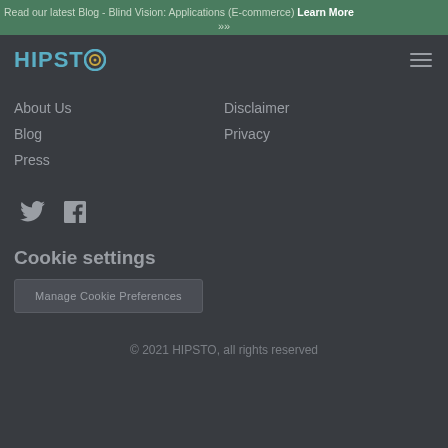Read our latest Blog - Blind Vision: Applications (E-commerce) Learn More >>
[Figure (logo): HIPSTO logo with teal text and circular O icon]
About Us
Blog
Press
Disclaimer
Privacy
[Figure (illustration): Twitter and LinkedIn social media icons]
Cookie settings
Manage Cookie Preferences
© 2021 HIPSTO, all rights reserved